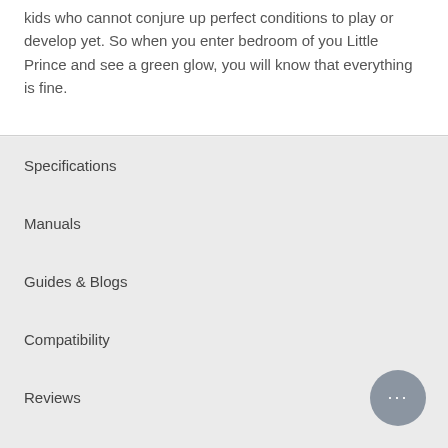kids who cannot conjure up perfect conditions to play or develop yet. So when you enter bedroom of you Little Prince and see a green glow, you will know that everything is fine.
Specifications
Manuals
Guides & Blogs
Compatibility
Reviews